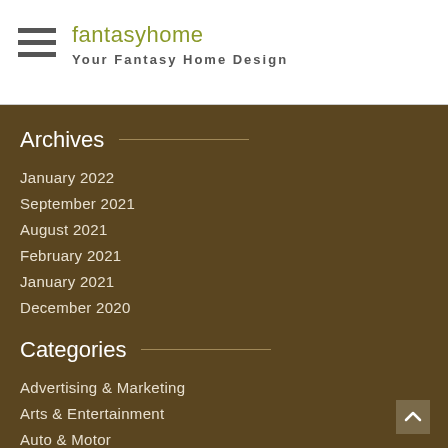fantasyhome — Your Fantasy Home Design
Archives
January 2022
September 2021
August 2021
February 2021
January 2021
December 2020
Categories
Advertising & Marketing
Arts & Entertainment
Auto & Motor